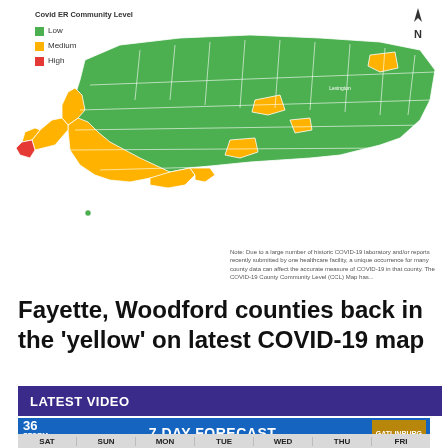[Figure (map): Map of Kentucky counties color-coded by Covid ER Community Level: green (Low), yellow/orange (Medium), red (High). Most counties are green, western and central regions show yellow/orange, one county in far west is red.]
Note: Due to a large number of historic COVID-19 laboratory and/or reports recently submitted by one healthcare facility, a single occurrence for many county data can affect the accurate measure of COVID-19 in that county. The COVID-19 County Community Level (CCL) Map has...
Fayette, Woodford counties back in the 'yellow' on latest COVID-19 map
LATEST VIDEO
[Figure (screenshot): Video preview thumbnail showing ABC 36 Storm Team 7 Day Forecast with Gatlinburg logo, and day labels SAT, SUN, MON, TUE, WED, THU, FRI at the bottom.]